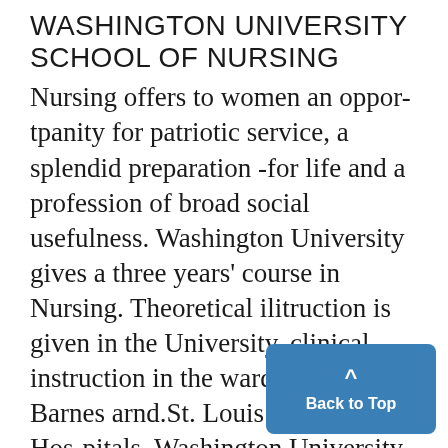WASHINGTON UNIVERSITY SCHOOL OF NURSING
Nursing offers to women an opportunity for patriotic service, a splendid preparation -for life and a profession of broad social usefulness. Washington University gives a three years' course in Nursing. Theoretical ilitruction is given in the University. clinical instruction in the wards of the Barnes arnd.St. Louis Children's Hospitals, Washington University Dispensary and Social Service Department. Six months' credit is offered to